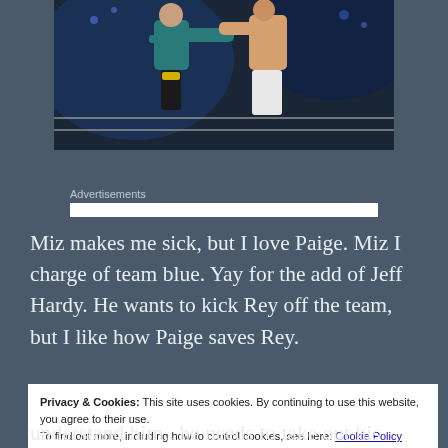[Figure (photo): Two wrestlers in a boxing ring, one in teal/dark outfit, one shirtless in white trunks, appearing to grapple or punch each other under arena lighting]
Advertisements
Miz makes me sick, but I love Paige. Miz I charge of team blue. Yay for the add of Jeff Hardy. He wants to kick Rey off the team, but I like how Paige saves Rey.
Privacy & Cookies: This site uses cookies. By continuing to use this website, you agree to their use.
To find out more, including how to control cookies, see here: Cookie Policy
Close and accept
understand him.. he needs to take out his Invisalign.